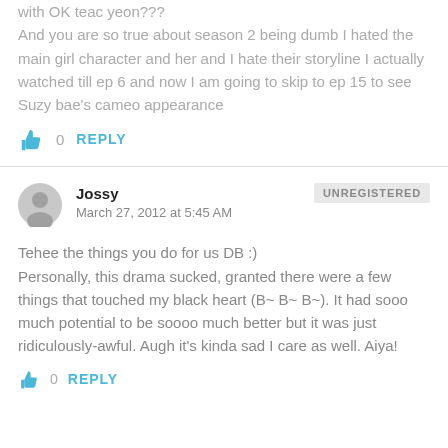with OK teac yeon???
And you are so true about season 2 being dumb I hated the main girl character and her and I hate their storyline I actually watched till ep 6 and now I am going to skip to ep 15 to see Suzy bae's cameo appearance
0  REPLY
Jossy
March 27, 2012 at 5:45 AM
UNREGISTERED
Tehee the things you do for us DB :)
Personally, this drama sucked, granted there were a few things that touched my black heart (B~ B~ B~). It had sooo much potential to be soooo much better but it was just ridiculously-awful. Augh it's kinda sad I care as well. Aiya!